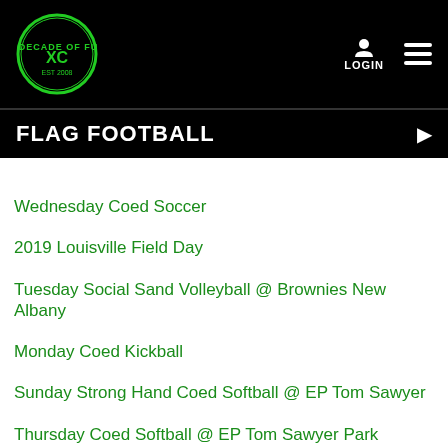Navigation bar with logo, LOGIN, and hamburger menu
FLAG FOOTBALL
Wednesday Coed Soccer
2019 Louisville Field Day
Tuesday Social Sand Volleyball @ Brownies New Albany
Monday Coed Kickball
Sunday Strong Hand Coed Softball @ EP Tom Sawyer
Thursday Coed Softball @ EP Tom Sawyer Park
Thursday Kickball
Tuesday Kickball
Sport Galleries
Basketball
Bowling
Dodgeball